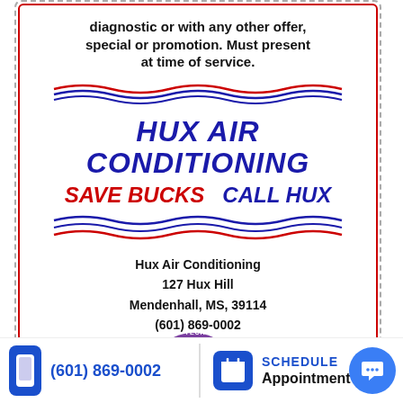diagnostic or with any other offer, special or promotion. Must present at time of service.
[Figure (logo): Hux Air Conditioning logo with red and blue wave lines, brand name HUX AIR CONDITIONING in bold italic blue, tagline SAVE BUCKS CALL HUX in red and blue]
Hux Air Conditioning
127 Hux Hill
Mendenhall, MS, 39114
(601) 869-0002
Click to Open in Print View
[Figure (logo): American Technician Excellence badge logo, partially visible]
(601) 869-0002
SCHEDULE Appointment